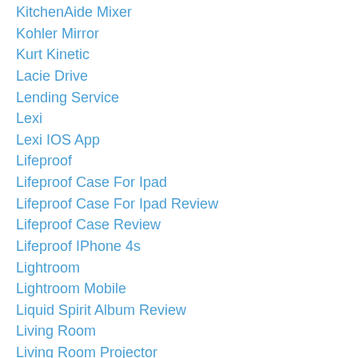KitchenAide Mixer
Kohler Mirror
Kurt Kinetic
Lacie Drive
Lending Service
Lexi
Lexi IOS App
Lifeproof
Lifeproof Case For Ipad
Lifeproof Case For Ipad Review
Lifeproof Case Review
Lifeproof IPhone 4s
Lightroom
Lightroom Mobile
Liquid Spirit Album Review
Living Room
Living Room Projector
Lodge Cast Iron
Lossless Audio
Loudness Wars
Lynda.com Review